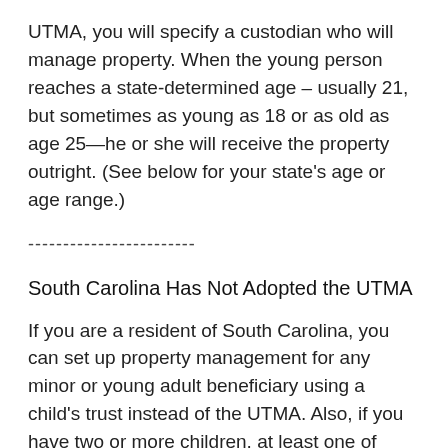UTMA, you will specify a custodian who will manage property. When the young person reaches a state-determined age – usually 21, but sometimes as young as 18 or as old as age 25—he or she will receive the property outright. (See below for your state's age or age range.)
------------------------
South Carolina Has Not Adopted the UTMA
If you are a resident of South Carolina, you can set up property management for any minor or young adult beneficiary using a child's trust instead of the UTMA. Also, if you have two or more children, at least one of them is under 25 years old, and you plan to leave all (or most) of your estate to your children, you may use a pot trust. The pot trust is